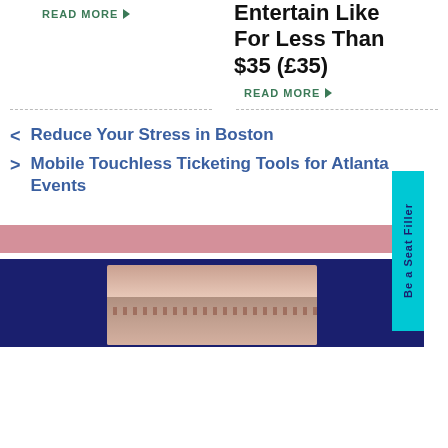READ MORE
Entertain Like For Less Than $35 (£35)
READ MORE
< Reduce Your Stress in Boston
> Mobile Touchless Ticketing Tools for Atlanta Events
[Figure (photo): Theater stage or venue interior with navy blue background, showing a decorative architectural element in pink/cream tones]